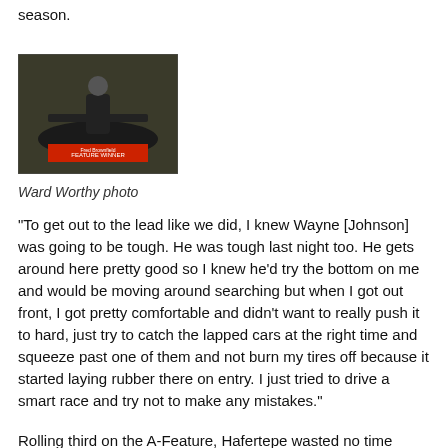season.
[Figure (photo): Racing driver standing next to a sprint car with a 'Feature Winner' banner for Fred Brownfield]
Ward Worthy photo
"To get out to the lead like we did, I knew Wayne [Johnson] was going to be tough. He was tough last night too. He gets around here pretty good so I knew he'd try the bottom on me and would be moving around searching but when I got out front, I got pretty comfortable and didn't want to really push it to hard, just try to catch the lapped cars at the right time and squeeze past one of them and not burn my tires off because it started laying rubber there on entry. I just tried to drive a smart race and try not to make any mistakes."
Rolling third on the A-Feature, Hafertepe wasted no time taking the race for the lead three-wide through the opening turn. Rolling